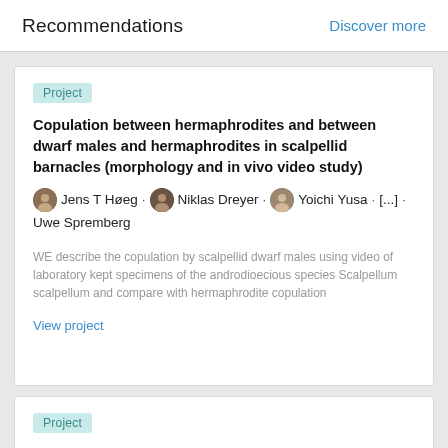Recommendations
Discover more
Project
Copulation between hermaphrodites and between dwarf males and hermaphrodites in scalpellid barnacles (morphology and in vivo video study)
Jens T Høeg · Niklas Dreyer · Yoichi Yusa · [...] · Uwe Spremberg
WE describe the copulation by scalpellid dwarf males using video of laboratory kept specimens of the androdioecious species Scalpellum scalpellum and compare with hermaphrodite copulation
View project
Project
Population structure in the androdioecious scalpellid...